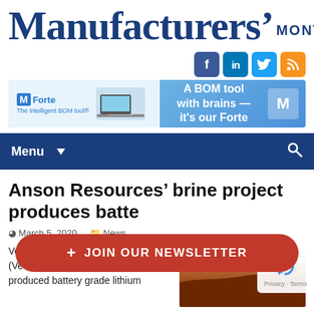Manufacturers' MONTHLY
[Figure (logo): Social media icons: Facebook, LinkedIn, Twitter, RSS]
[Figure (screenshot): Advertisement banner for M Forte BOM tool: 'A BOM tool with brains — it's our Forte']
Menu
Anson Resources' brine project produces battery grade lithium
March 5, 2020  News
Veolia Water Technologies (Veolia) has successfully produced battery grade lithium
[Figure (photo): Landscape photo showing red rock canyon/desert terrain]
+ JOIN OUR NEWSLETTER